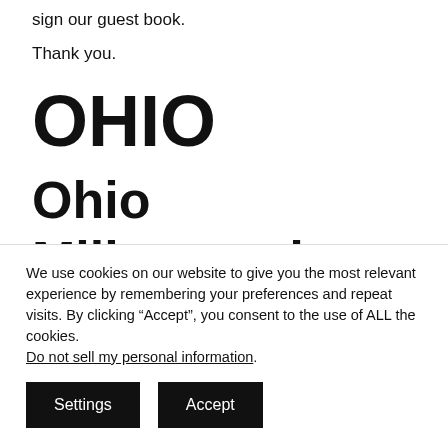sign our guest book.
Thank you.
OHIO
Ohio Millermeade Farms
We use cookies on our website to give you the most relevant experience by remembering your preferences and repeat visits. By clicking “Accept”, you consent to the use of ALL the cookies. Do not sell my personal information.